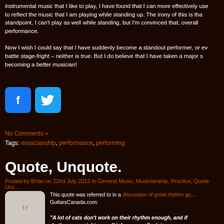instrumental music that I like to play, I have found that I can more effectively use my body to reflect the music that I am playing while standing up. The irony of this is that from a technical standpoint, I can't play as well while standing, but I'm convinced that, overall it enhances my performance.

Now I wish I could say that I have suddenly become a standout performer, or even that I can battle stage-fright – neither is true. But I do believe that I have taken a major step towards becoming a better musician!
[Figure (other): Facebook and Twitter social sharing buttons]
No Comments »
Tags: musicianship, performance, performing
Quote, Unquote.
Posted by Brian on 22nd July 2012 in General Music, Musicianship, Practice, Quote Unquote
This quote was referred to in a discussion of great rhythm gu... GuitarsCanada.com:
"A lot of cats don't work on their rhythm enough, and if you don't have rhythm, you might as well take up needleoint, or so..." — Prince in an interview with Guita...